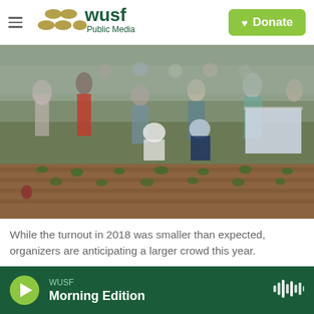WUSF Public Media
[Figure (photo): Outdoor gathering with crowd of people on a grassy field. Some people are seated on the ground, others standing. A garden bed with small plants is visible in the foreground. A protest sign is visible in the background. People wearing colorful jackets including red and teal.]
While the turnout in 2018 was smaller than expected, organizers are anticipating a larger crowd this year.
WUSF Morning Edition